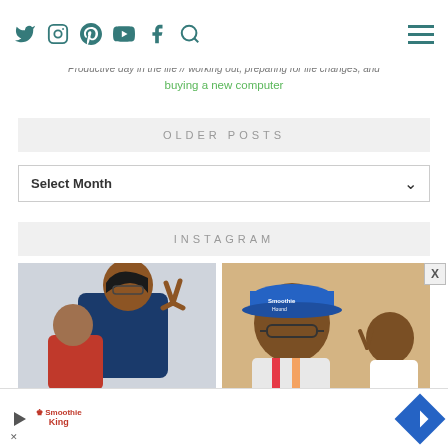Social navigation icons: Twitter, Instagram, Pinterest, YouTube, Facebook, Search | Hamburger menu
Productive day in the life // working out, preparing for life changes, and buying a new computer
OLDER POSTS
Select Month
INSTAGRAM
[Figure (photo): Two people making peace signs, one adult in navy blue shirt and a small child in red top, outdoors]
[Figure (photo): Woman wearing blue cap and glasses with a child in white shirt making hand gestures, outdoors]
[Figure (other): Advertisement banner: play button icon, Smoothie King logo, X/close icon, and a navigation arrow icon]